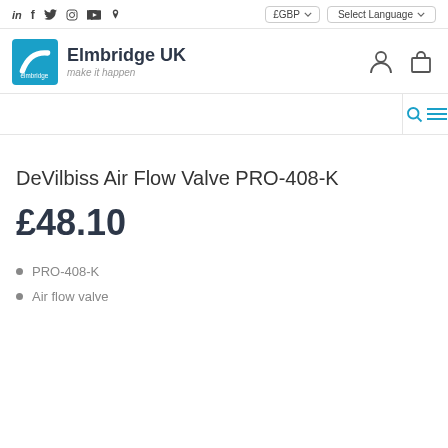in f 🐦 📷 ▶ 𝒫  £GBP  Select Language
[Figure (logo): Elmbridge UK logo with teal/blue background and white swish icon]
Elmbridge UK make it happen
DeVilbiss Air Flow Valve PRO-408-K
£48.10
PRO-408-K
Air flow valve